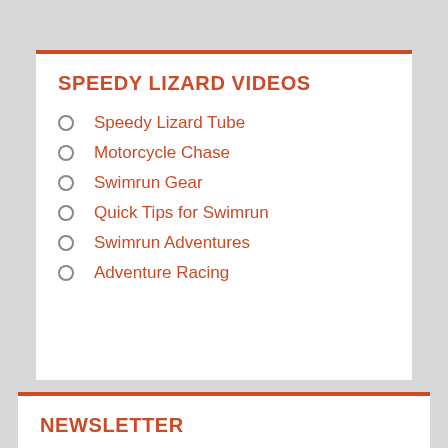SPEEDY LIZARD VIDEOS
Speedy Lizard Tube
Motorcycle Chase
Swimrun Gear
Quick Tips for Swimrun
Swimrun Adventures
Adventure Racing
NEWSLETTER
Signup for My Newsletter